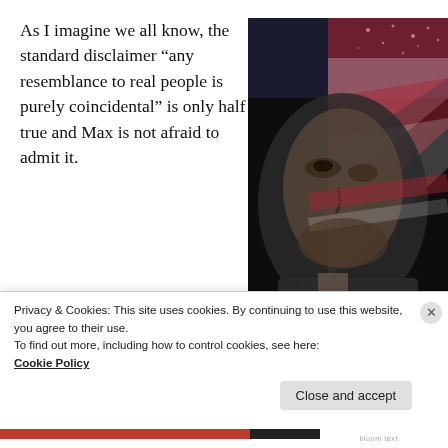As I imagine we all know, the standard disclaimer “any resemblance to real people is purely coincidental” is only half true and Max is not afraid to admit it.
[Figure (illustration): Book cover of 'Larry Flynn' by Max Power, showing an elderly man's face overlaid with an American flag (stars and stripes in red, white, blue). Text on cover reads 'Larry Flynn' in italic script and 'Max Power' at the bottom.]
“Little Big Boy has my face on the cover. I wanted a
Privacy & Cookies: This site uses cookies. By continuing to use this website, you agree to their use.
To find out more, including how to control cookies, see here:
Cookie Policy
Close and accept